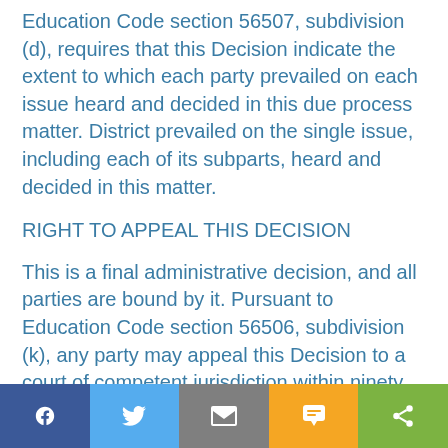Education Code section 56507, subdivision (d), requires that this Decision indicate the extent to which each party prevailed on each issue heard and decided in this due process matter. District prevailed on the single issue, including each of its subparts, heard and decided in this matter.
RIGHT TO APPEAL THIS DECISION
This is a final administrative decision, and all parties are bound by it. Pursuant to Education Code section 56506, subdivision (k), any party may appeal this Decision to a court of competent jurisdiction within ninety (90) days of receipt.
Social sharing bar: Facebook, Twitter, Email, SMS, Share